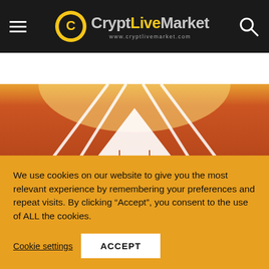CryptLiveMarket www.cryptlivemarket.com
Lido DAO Price Spikes Over 10% In 24 H. Makli_
[Figure (photo): Red running track surface with a large white upward-pointing arrow painted on it, with converging lane lines leading to a bright horizon.]
We use cookies on our website to give you the most relevant experience by remembering your preferences and repeat visits. By clicking “Accept”, you consent to the use of ALL the cookies.
Cookie settings  ACCEPT